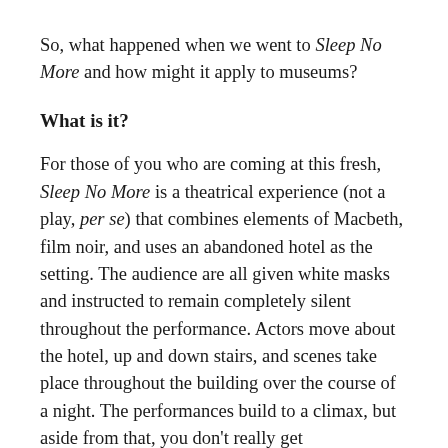So, what happened when we went to Sleep No More and how might it apply to museums?
What is it?
For those of you who are coming at this fresh, Sleep No More is a theatrical experience (not a play, per se) that combines elements of Macbeth, film noir, and uses an abandoned hotel as the setting. The audience are all given white masks and instructed to remain completely silent throughout the performance. Actors move about the hotel, up and down stairs, and scenes take place throughout the building over the course of a night. The performances build to a climax, but aside from that, you don't really get